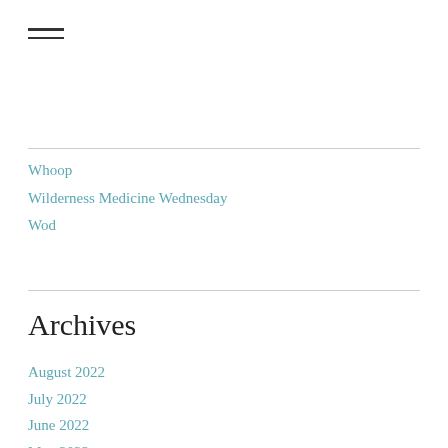[Figure (other): Hamburger menu icon with three horizontal lines]
Whoop
Wilderness Medicine Wednesday
Wod
Archives
August 2022
July 2022
June 2022
May 2022
April 2022
March 2022
February 2022
January 2022
December 2021
November 2021